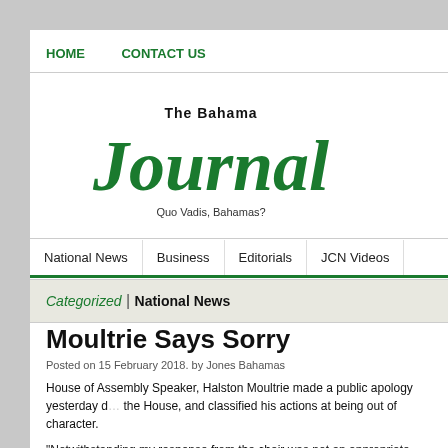HOME   CONTACT US
[Figure (logo): The Bahama Journal logo with green gothic 'Journal' text and tagline 'Quo Vadis, Bahamas?']
National News   Business   Editorials   JCN Videos
Categorized | National News
Moultrie Says Sorry
Posted on 15 February 2018. by Jones Bahamas
House of Assembly Speaker, Halston Moultrie made a public apology yesterday d... the House, and classified his actions at being out of character.
“Notwithstanding my response from the chair was not an appropriate response, I a... occurred and that it precipitated the bitterness and resentment that followed.
“I was wrong for getting into the flesh. I used the scripture: “we wrestle not agai...